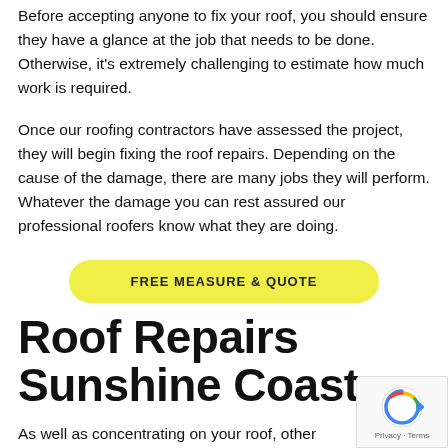Before accepting anyone to fix your roof, you should ensure they have a glance at the job that needs to be done. Otherwise, it's extremely challenging to estimate how much work is required.
Once our roofing contractors have assessed the project, they will begin fixing the roof repairs. Depending on the cause of the damage, there are many jobs they will perform. Whatever the damage you can rest assured our professional roofers know what they are doing.
[Figure (other): Yellow rounded button labeled FREE MEASURE & QUOTE]
Roof Repairs Sunshine Coast
As well as concentrating on your roof, other